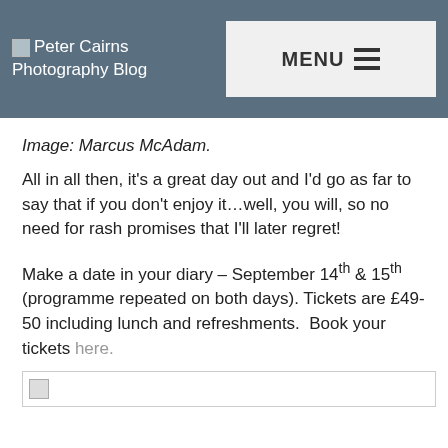Peter Cairns Photography Blog  MENU
Image: Marcus McAdam.
All in all then, it's a great day out and I'd go as far to say that if you don't enjoy it…well, you will, so no need for rash promises that I'll later regret!
Make a date in your diary – September 14th & 15th (programme repeated on both days). Tickets are £49-50 including lunch and refreshments.  Book your tickets here.
[Figure (photo): Bottom image placeholder (broken image icon visible)]